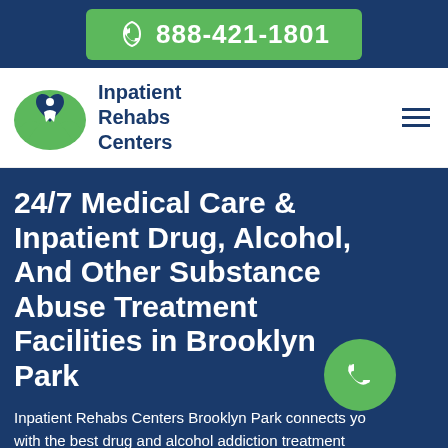888-421-1801
[Figure (logo): Inpatient Rehabs Centers logo — green hands cradling a blue heart with a white figure inside]
24/7 Medical Care & Inpatient Drug, Alcohol, And Other Substance Abuse Treatment Facilities in Brooklyn Park
Inpatient Rehabs Centers Brooklyn Park connects you with the best drug and alcohol addiction treatment centers that have the best drug addiction recovery programs in Brooklyn Park. Get the best treatment from